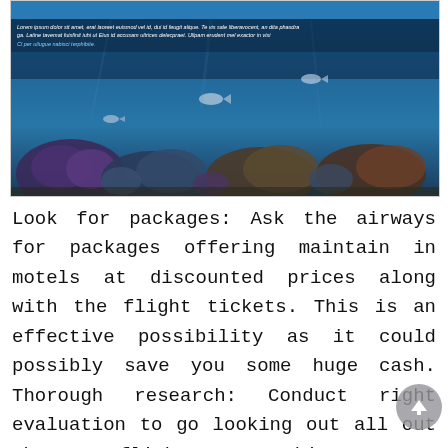[Figure (photo): Underwater coral reef scene with fish, framed in a beige/tan border with a blue banner at the top and Lorem ipsum italic overlay text]
Look for packages: Ask the airways for packages offering maintain in motels at discounted prices along with the flight tickets. This is an effective possibility as it could possibly save you some huge cash. Thorough research: Conduct right evaluation to go looking out all out there flights matching your requirements. Compare: Carefully compare the